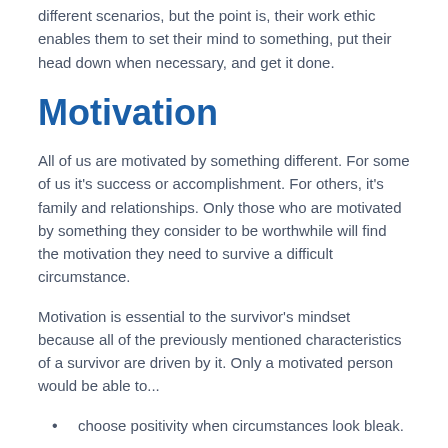different scenarios, but the point is, their work ethic enables them to set their mind to something, put their head down when necessary, and get it done.
Motivation
All of us are motivated by something different. For some of us it's success or accomplishment. For others, it's family and relationships. Only those who are motivated by something they consider to be worthwhile will find the motivation they need to survive a difficult circumstance.
Motivation is essential to the survivor's mindset because all of the previously mentioned characteristics of a survivor are driven by it. Only a motivated person would be able to...
choose positivity when circumstances look bleak.
adapt to unexpected and undesirable situations.
train the mind to be tough and maintain that toughness in the most challenging circumstances.
work hard for as long as it takes and using whatever